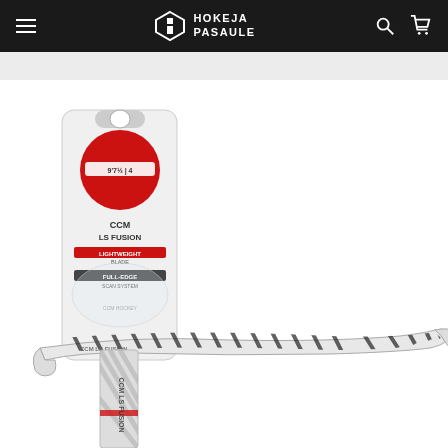Hokeja Pasaule — navigation bar with hamburger menu, logo, search and cart icons
[Figure (photo): Product photo of a CCM LS Fusion ice hockey skate blade/runner in retail blister packaging, shown alongside the curved blade itself. The blade is silver/white with black diagonal stripe graphics. The packaging shows a red circular label and product details text including 'CCM LS FUSION', 'LIGHTWEIGHT BLADE', 'FULL-EDGE'. The product is displayed on a white background.]